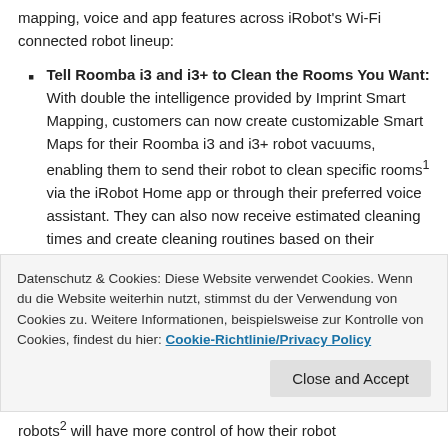mapping, voice and app features across iRobot's Wi-Fi connected robot lineup:
Tell Roomba i3 and i3+ to Clean the Rooms You Want: With double the intelligence provided by Imprint Smart Mapping, customers can now create customizable Smart Maps for their Roomba i3 and i3+ robot vacuums, enabling them to send their robot to clean specific rooms¹ via the iRobot Home app or through their preferred voice assistant. They can also now receive estimated cleaning times and create cleaning routines based on their preferred schedules, rooms and automations. This update is available to Roomba i3 and i3+ customers
Datenschutz & Cookies: Diese Website verwendet Cookies. Wenn du die Website weiterhin nutzt, stimmst du der Verwendung von Cookies zu. Weitere Informationen, beispielsweise zur Kontrolle von Cookies, findest du hier: Cookie-Richtlinie/Privacy Policy
robots² will have more control of how their robot